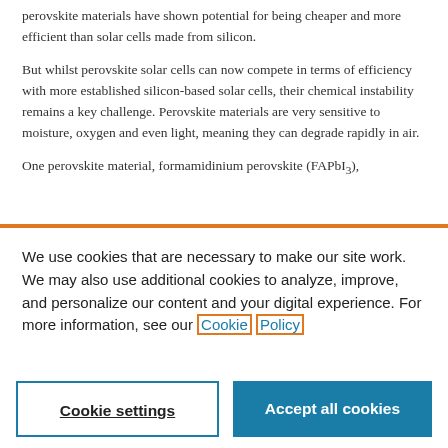perovskite materials have shown potential for being cheaper and more efficient than solar cells made from silicon.
But whilst perovskite solar cells can now compete in terms of efficiency with more established silicon-based solar cells, their chemical instability remains a key challenge. Perovskite materials are very sensitive to moisture, oxygen and even light, meaning they can degrade rapidly in air.
One perovskite material, formamidinium perovskite (FAPbI3),
We use cookies that are necessary to make our site work. We may also use additional cookies to analyze, improve, and personalize our content and your digital experience. For more information, see our Cookie Policy
Cookie settings
Accept all cookies